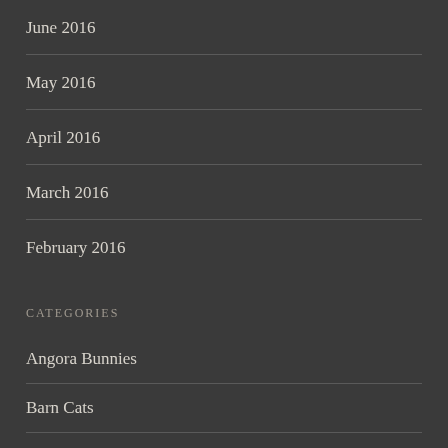June 2016
May 2016
April 2016
March 2016
February 2016
CATEGORIES
Angora Bunnies
Barn Cats
Bees